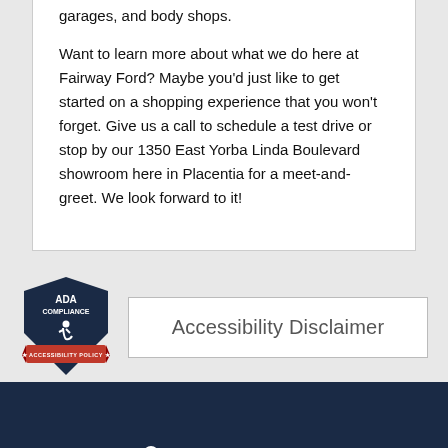garages, and body shops.
Want to learn more about what we do here at Fairway Ford? Maybe you'd just like to get started on a shopping experience that you won't forget. Give us a call to schedule a test drive or stop by our 1350 East Yorba Linda Boulevard showroom here in Placentia for a meet-and-greet. We look forward to it!
[Figure (logo): ADA Compliance Accessibility Policy badge — dark navy shield shape with red ribbon banner at bottom reading ACCESSIBILITY POLICY, wheelchair icon in center, text ADA COMPLIANCE at top]
Accessibility Disclaimer
1350 E. Yorba Linda